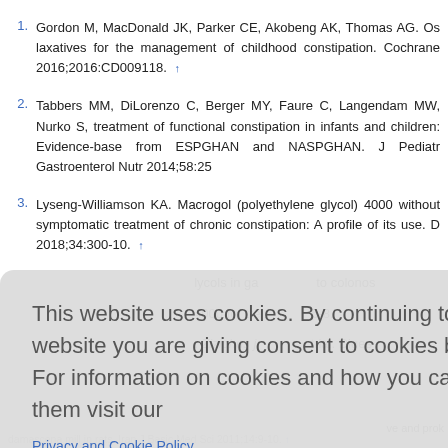1. Gordon M, MacDonald JK, Parker CE, Akobeng AK, Thomas AG. Os... laxatives for the management of childhood constipation. Cochrane ... 2016;2016:CD009118. ↑
2. Tabbers MM, DiLorenzo C, Berger MY, Faure C, Langendam MW, Nurko S... treatment of functional constipation in infants and children: Evidence-base... from ESPGHAN and NASPGHAN. J Pediatr Gastroenterol Nutr 2014;58:25...
3. Lyseng-Williamson KA. Macrogol (polyethylene glycol) 4000 without... symptomatic treatment of chronic constipation: A profile of its use. D... 2018;34:300-10. ↑
...lycols in ga... to colonos...
...4000 for tre... 5-8. ↑
... Ziziphus j... trial. Diges...
...ve and prok... damascena mill in rats. Iran J Basic Med Sci 2011;14:9-10. ↑
This website uses cookies. By continuing to use this website you are giving consent to cookies being used. For information on cookies and how you can disable them visit our Privacy and Cookie Policy.